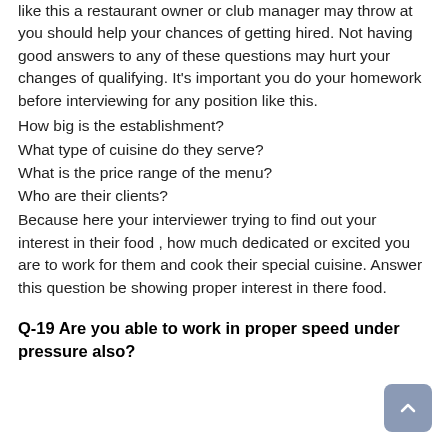like this a restaurant owner or club manager may throw at you should help your chances of getting hired. Not having good answers to any of these questions may hurt your changes of qualifying. It's important you do your homework before interviewing for any position like this.
How big is the establishment?
What type of cuisine do they serve?
What is the price range of the menu?
Who are their clients?
Because here your interviewer trying to find out your interest in their food , how much dedicated or excited you are to work for them and cook their special cuisine. Answer this question be showing proper interest in there food.
Q-19 Are you able to work in proper speed under pressure also?